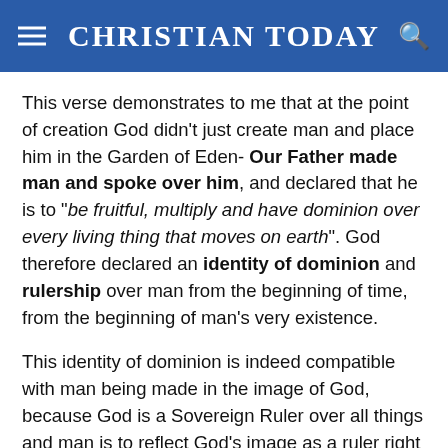CHRISTIAN TODAY
This verse demonstrates to me that at the point of creation God didn't just create man and place him in the Garden of Eden- Our Father made man and spoke over him, and declared that he is to "be fruitful, multiply and have dominion over every living thing that moves on earth". God therefore declared an identity of dominion and rulership over man from the beginning of time, from the beginning of man's very existence.
This identity of dominion is indeed compatible with man being made in the image of God, because God is a Sovereign Ruler over all things and man is to reflect God's image as a ruler right here on earth.